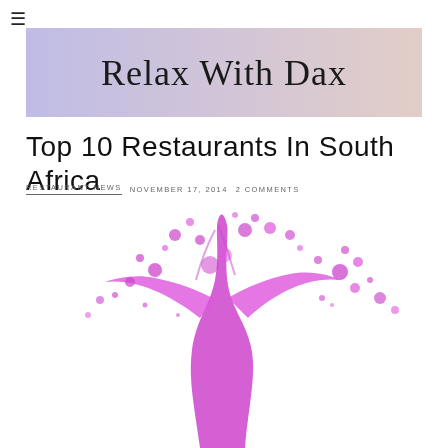≡
[Figure (logo): Relax With Dax blog banner with purple-pink gradient background and cursive text]
Top 10 Restaurants In South Africa
RESTAURANT NEWS   NOVEMBER 17, 2014   2 COMMENTS
[Figure (photo): Purple/magenta liquid splash with droplets on white background]